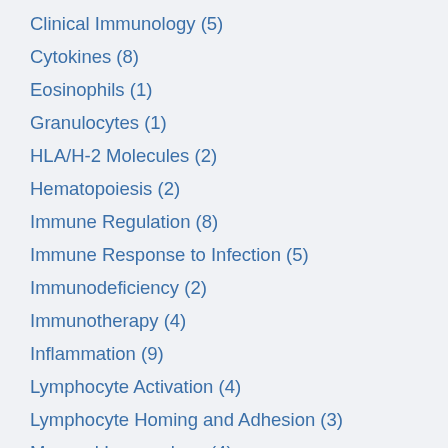Clinical Immunology (5)
Cytokines (8)
Eosinophils (1)
Granulocytes (1)
HLA/H-2 Molecules (2)
Hematopoiesis (2)
Immune Regulation (8)
Immune Response to Infection (5)
Immunodeficiency (2)
Immunotherapy (4)
Inflammation (9)
Lymphocyte Activation (4)
Lymphocyte Homing and Adhesion (3)
Mucosal Immunology (4)
Myeloid Cells (3)
Natural Killer Cells (5)
Neuro-Immunology (2)
Regional Immunity (3)